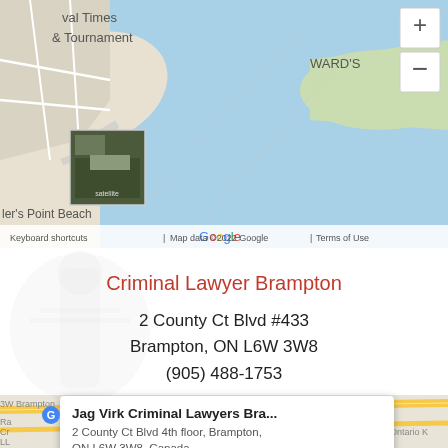[Figure (map): Google Maps screenshot showing waterfront area with Ward's Island label, Google logo, keyboard shortcuts, map data 2022 Google, Terms of Use, zoom buttons, and a satellite image thumbnail]
Criminal Lawyer Brampton
2 County Ct Blvd #433
Brampton, ON L6W 3W8
(905) 488-1753
[Figure (map): Google Maps screenshot showing Brampton area with a popup card for Jag Virk Criminal Lawyers Bra... at 2 County Ct Blvd 4th floor, Brampton, ON L6W 3W8, Canada, rated 4.6 stars, with View larger map link. Map shows King Tandoori Kennedy, Peel Village, Peel Village Golf Course, Tomken Rd, Ontario K labels, and map markers.]